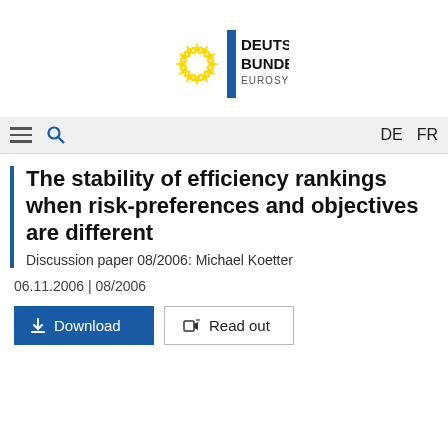[Figure (logo): Deutsche Bundesbank Eurosystem logo with EU stars circle and blue vertical bar]
≡  🔍   DE  FR
The stability of efficiency rankings when risk-preferences and objectives are different
Discussion paper 08/2006: Michael Koetter
06.11.2006 | 08/2006
⬇ Download   🔊 Read out